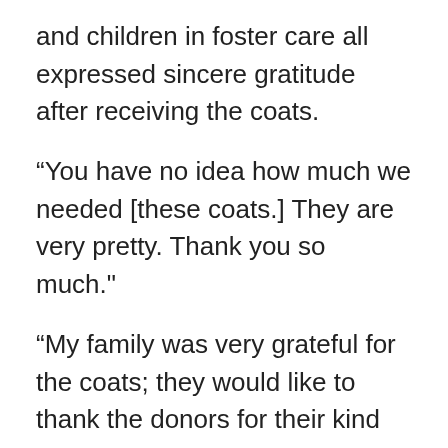and children in foster care all expressed sincere gratitude after receiving the coats.
“You have no idea how much we needed [these coats.] They are very pretty. Thank you so much."
“My family was very grateful for the coats; they would like to thank the donors for their kind gesture!"
When presented with his coat one 10-year-old boy tried on his coat, looked in the mirror and said, "It looks good on me!"
This year, Our Children Fund has also